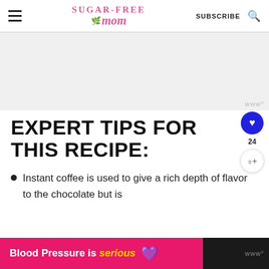Sugar-Free Mom | SUBSCRIBE
[Figure (screenshot): Gray advertisement placeholder block with 'www' watermark in bottom right]
EXPERT TIPS FOR THIS RECIPE:
Instant coffee is used to give a rich depth of flavor to the chocolate but is
[Figure (screenshot): Bottom banner ad: 'Blood Pressure is serious' with purple heart icon on pink background, black section on right with ww logo]